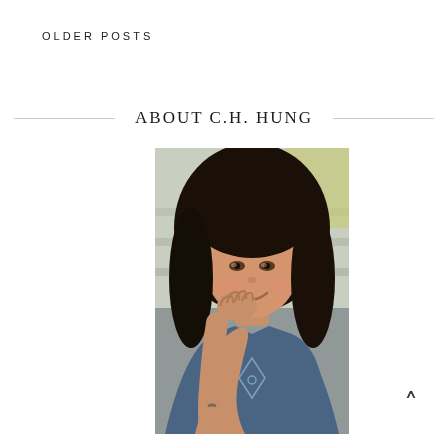OLDER POSTS
ABOUT C.H. HUNG
[Figure (photo): Portrait photo of C.H. Hung, a woman with dark hair resting her chin on her fist, wearing a blue t-shirt with a geometric design, smiling slightly, photographed outdoors on what appears to be steps or stairs.]
^